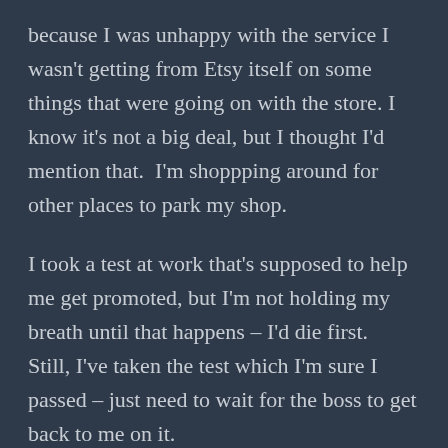because I was unhappy with the service I wasn't getting from Etsy itself on some things that were going on with the store. I know it's not a big deal, but I thought I'd mention that.  I'm shoppping around for other places to park my shop.
I took a test at work that's supposed to help me get promoted, but I'm not holding my breath until that happens – I'd die first.  Still, I've taken the test which I'm sure I passed – just need to wait for the boss to get back to me on it.
My son, Joe, is engaged to his lovely girlfriend, Macy, and they're getting married some time next year.  No time has been decided upon just yet.  It's going to be a Handfasting Ceremony 🙂